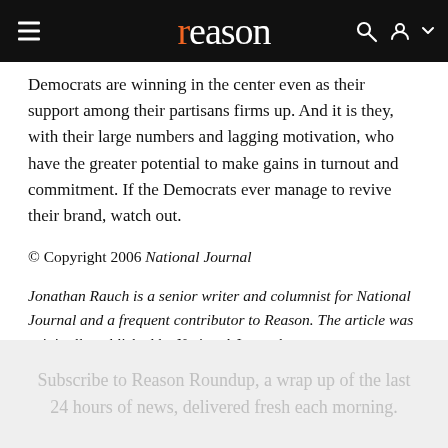reason
Democrats are winning in the center even as their support among their partisans firms up. And it is they, with their large numbers and lagging motivation, who have the greater potential to make gains in turnout and commitment. If the Democrats ever manage to revive their brand, watch out.
© Copyright 2006 National Journal
Jonathan Rauch is a senior writer and columnist for National Journal and a frequent contributor to Reason. The article was originally published by National Journal.
Subscribe to Reason Roundup, a wrap up of the last 24 hours of news, delivered fresh each morning.